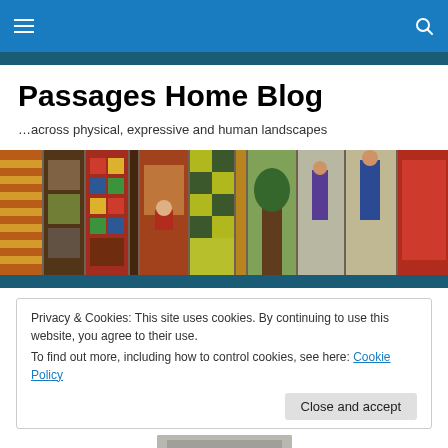Passages Home Blog — navigation bar with hamburger menu and search icon
Passages Home Blog
…across physical, expressive and human landscapes
[Figure (photo): A banner photo showing a row of colorful quilt panels displayed side by side with various folk art and patterned designs in red, yellow, green, blue, purple and other colors]
Privacy & Cookies: This site uses cookies. By continuing to use this website, you agree to their use.
To find out more, including how to control cookies, see here: Cookie Policy
[Figure (photo): Partial view of a grayscale image at the bottom of the page]